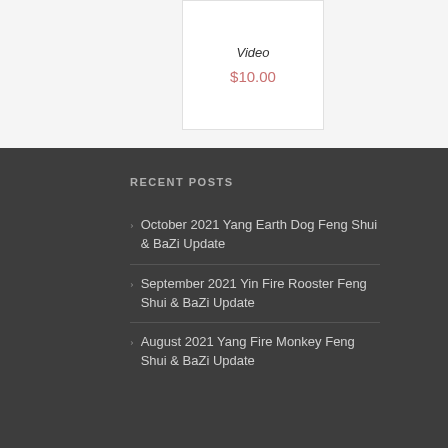Video
$10.00
RECENT POSTS
October 2021 Yang Earth Dog Feng Shui & BaZi Update
September 2021 Yin Fire Rooster Feng Shui & BaZi Update
August 2021 Yang Fire Monkey Feng Shui & BaZi Update